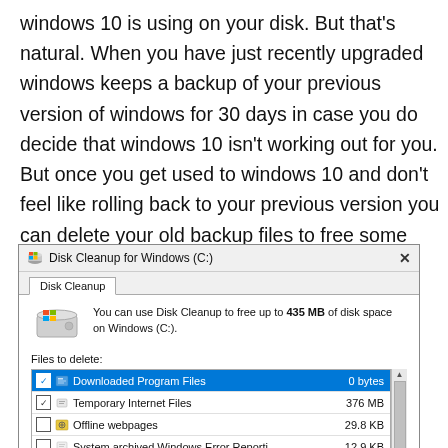windows 10 is using on your disk. But that's natural. When you have just recently upgraded windows keeps a backup of your previous version of windows for 30 days in case you do decide that windows 10 isn't working out for you. But once you get used to windows 10 and don't feel like rolling back to your previous version you can delete your old backup files to free some space.
[Figure (screenshot): Windows 10 Disk Cleanup dialog box showing the title 'Disk Cleanup for Windows (C:)' with a Disk Cleanup tab, an intro message about freeing 435 MB, and a list of files to delete including Downloaded Program Files (0 bytes, selected/highlighted in blue), Temporary Internet Files (376 MB, checked), Offline webpages (29.8 KB, unchecked), and System archived Windows Error Reporti... (12.9 KB, unchecked).]